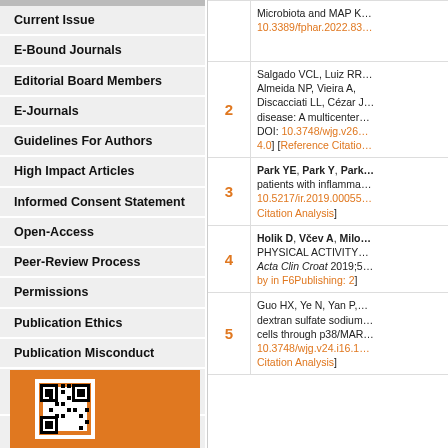Current Issue
E-Bound Journals
Editorial Board Members
E-Journals
Guidelines For Authors
High Impact Articles
Informed Consent Statement
Open-Access
Peer-Review Process
Permissions
Publication Ethics
Publication Misconduct
Statement of Human and Animal
Steps for Submitting Manuscripts
Submit a Manuscript
[Figure (other): QR code on orange background]
| # | Reference |
| --- | --- |
| 1 | Microbiota and MAP K... 10.3389/fphar.2022.83... |
| 2 | Salgado VCL, Luiz RR... Almeida NP, Vieira A, Discacciati LL, Cézar J... disease: A multicenter... DOI: 10.3748/wjg.v26... 4.0] [Reference Citatio... |
| 3 | Park YE, Park Y, Park... patients with inflamma... 10.5217/ir.2019.00055... Citation Analysis] |
| 4 | Holik D, Včev A, Milo... PHYSICAL ACTIVITY... Acta Clin Croat 2019;5... by in F6Publishing: 2] |
| 5 | Guo HX, Ye N, Yan P... dextran sulfate sodium... cells through p38/MAR... 10.3748/wjg.v24.i16.1... Citation Analysis] |